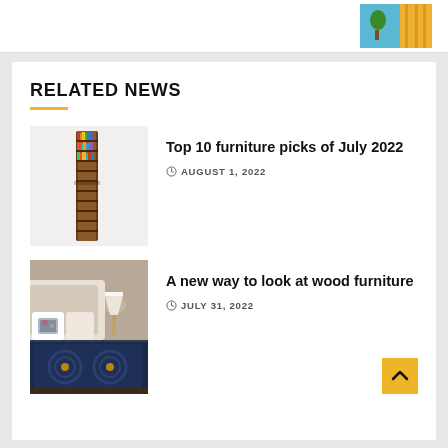[Figure (photo): Small decorative photo of interior/furniture in top-right corner]
RELATED NEWS
[Figure (photo): Tall twisted wooden bookshelf tower filled with colorful books, white background]
Top 10 furniture picks of July 2022
AUGUST 1, 2022
[Figure (photo): Bedroom scene with a navy blue dresser with round hardware details, white bedding, and a lamp in the background]
A new way to look at wood furniture
JULY 31, 2022